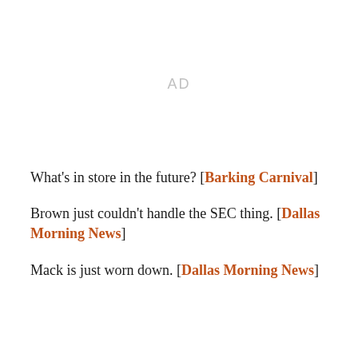[Figure (other): Advertisement placeholder area labeled AD]
What's in store in the future? [Barking Carnival]
Brown just couldn't handle the SEC thing. [Dallas Morning News]
Mack is just worn down. [Dallas Morning News]